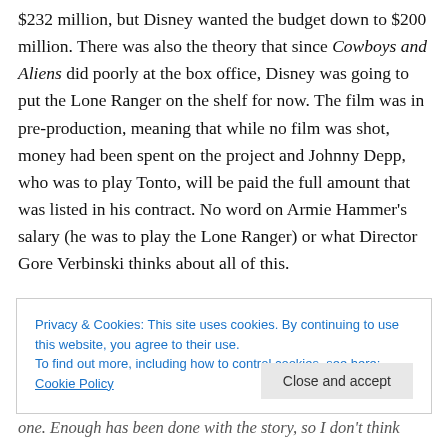$232 million, but Disney wanted the budget down to $200 million. There was also the theory that since Cowboys and Aliens did poorly at the box office, Disney was going to put the Lone Ranger on the shelf for now. The film was in pre-production, meaning that while no film was shot, money had been spent on the project and Johnny Depp, who was to play Tonto, will be paid the full amount that was listed in his contract. No word on Armie Hammer's salary (he was to play the Lone Ranger) or what Director Gore Verbinski thinks about all of this.
Privacy & Cookies: This site uses cookies. By continuing to use this website, you agree to their use. To find out more, including how to control cookies, see here: Cookie Policy
Close and accept
one. Enough has been done with the story, so I don't think